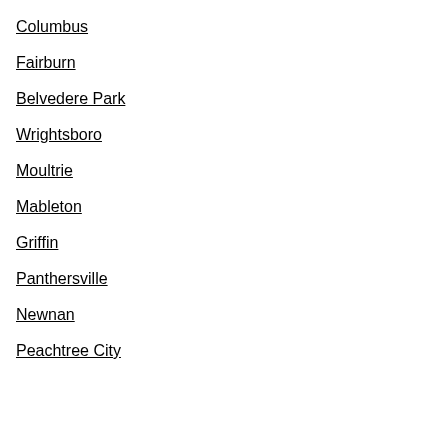Columbus
Fairburn
Belvedere Park
Wrightsboro
Moultrie
Mableton
Griffin
Panthersville
Newnan
Peachtree City